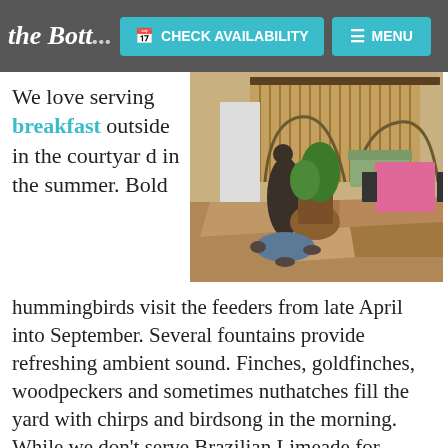the Bott... CHECK AVAILABILITY  MENU
We love serving breakfast outside in the courtyard in the summer. Bold
[Figure (photo): Outdoor courtyard with stone paving, a bronze statue near a small pond, lush plants, a green bench, and a pink-tablecloth table with chairs under a bamboo pergola.]
hummingbirds visit the feeders from late April into September. Several fountains provide refreshing ambient sound. Finches, goldfinches, woodpeckers and sometimes nuthatches fill the yard with chirps and birdsong in the morning. While we don't serve Brazilian Limeade for